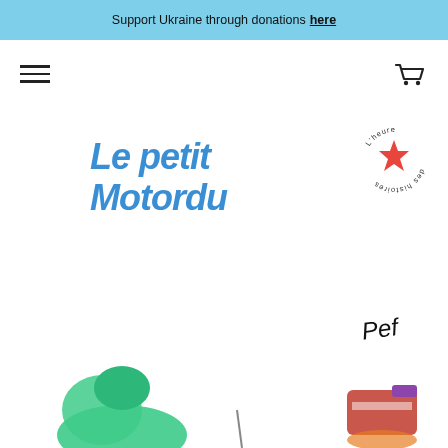Support Ukraine through donations here
[Figure (screenshot): Website screenshot showing a book product page for 'Le petit Motordu' by Pef, with a blue Ukraine donation banner at top, hamburger menu icon, shopping cart icon, and the book cover illustration featuring handwritten blue title text and publisher logo 'L'heure des histoires']
Le petit Motordu
Pef